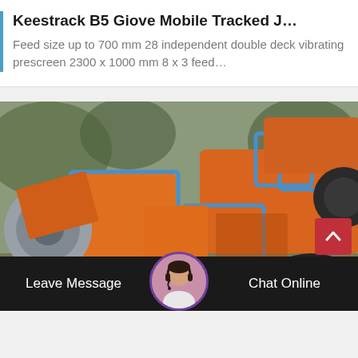Keestrack B5 Giove Mobile Tracked J…
Feed size up to 700 mm 28 independent double deck vibrating prescreen 2300 x 1000 mm 8 x 3 feed…
[Figure (photo): Photo of an orange and blue Keestrack B5 Giove mobile tracked jaw crusher machine, photographed outdoors]
Leave Message
Chat Online